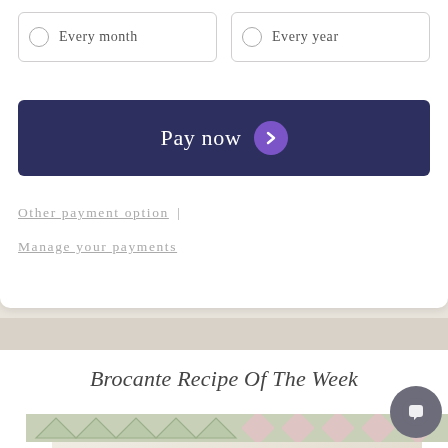Every month
Every year
Pay now
Other payment option | Manage your payments
Brocante Recipe Of The Week
[Figure (photo): Food photograph showing bowls of ingredients with decorative floral border, partially visible at bottom of page]